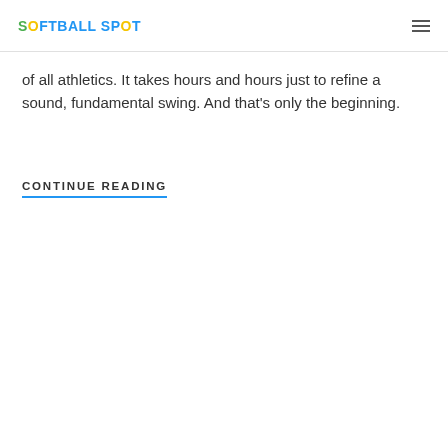SOFTBALL SPOT
of all athletics. It takes hours and hours just to refine a sound, fundamental swing. And that's only the beginning.
CONTINUE READING